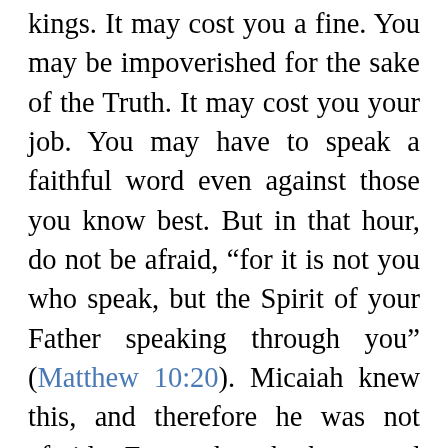kings. It may cost you a fine. You may be impoverished for the sake of the Truth. It may cost you your job. You may have to speak a faithful word even against those you know best. But in that hour, do not be afraid, “for it is not you who speak, but the Spirit of your Father speaking through you” (Matthew 10:20). Micaiah knew this, and therefore he was not afraid. Even though he stood alone, the Lord of Hosts was with him. Micaiah died speaking the Word faithfully. May we also be ready to leave everything behind—house, job, family, a retirement plan, even our very lives—in search of a better country, that